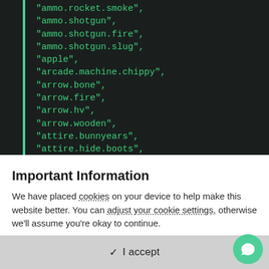[Figure (screenshot): Dark-themed code editor screenshot showing a list of JSON string items in green monospace font on a dark background, with a teal/green vertical bar on the left. Items include ammo.rocket.smoke, ammo.shotgun, ammo.shotgun.fire, ammo.shotgun.slug, apple, arcade.machine.chippy, arrow.bone, arrow.fire, arrow.hv, arrow.wooden, attire.bunnyears, attire.hide.boots, attire.hide.helterneck.]
Important Information
We have placed cookies on your device to help make this website better. You can adjust your cookie settings, otherwise we'll assume you're okay to continue.
✓  I accept